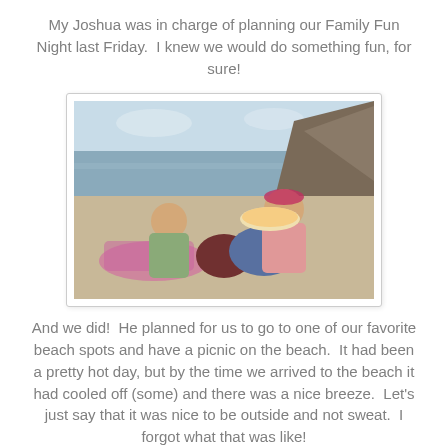My Joshua was in charge of planning our Family Fun Night last Friday.  I knew we would do something fun, for sure!
[Figure (photo): Two young people sitting on a beach with food, ocean and rocky hills in background. A girl in a pink shirt holds a container of food and smiles at the camera. A boy in a green shirt sits beside her.]
And we did!  He planned for us to go to one of our favorite beach spots and have a picnic on the beach.  It had been a pretty hot day, but by the time we arrived to the beach it had cooled off (some) and there was a nice breeze.  Let's just say that it was nice to be outside and not sweat.  I forgot what that was like!
[Figure (photo): Partially visible second beach photo at bottom of page.]